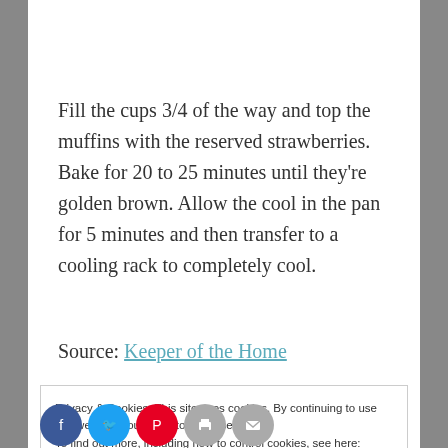Fill the cups 3/4 of the way and top the muffins with the reserved strawberries. Bake for 20 to 25 minutes until they're golden brown. Allow the cool in the pan for 5 minutes and then transfer to a cooling rack to completely cool.
Source: Keeper of the Home
Privacy & Cookies: This site uses cookies. By continuing to use this website, you agree to their use.
To find out more, including how to control cookies, see here: Cookie Policy
Close and accept